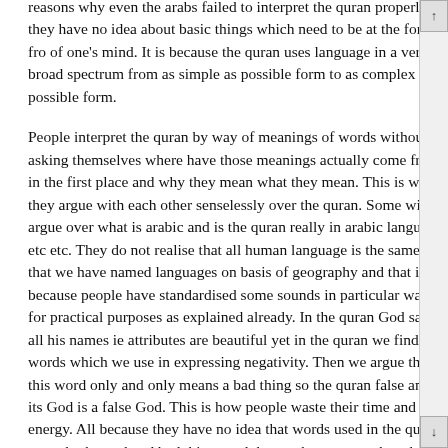reasons why even the arabs failed to interpret the quran properly is they have no idea about basic things which need to be at the fore fro of one's mind. It is because the quran uses language in a very broad spectrum from as simple as possible form to as complex as possible form.
People interpret the quran by way of meanings of words without asking themselves where have those meanings actually come from in the first place and why they mean what they mean. This is why they argue with each other senselessly over the quran. Some will argue over what is arabic and is the quran really in arabic language etc etc. They do not realise that all human language is the same and that we have named languages on basis of geography and that is because people have standardised some sounds in particular ways for practical purposes as explained already. In the quran God says, all his names ie attributes are beautiful yet in the quran we find words which we use in expressing negativity. Then we argue that this word only and only means a bad thing so the quran false and its God is a false God. This is how people waste their time and energy. All because they have no idea that words used in the quran mean both good and bad things and that we humans need to choose appropriate meanings from the conflicting meanings. The quranic text has its own purpose based ov all proper context in which it needs to be interpreted. For example,